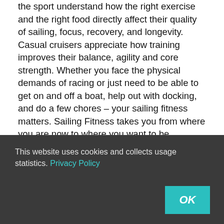the sport understand how the right exercise and the right food directly affect their quality of sailing, focus, recovery, and longevity. Casual cruisers appreciate how training improves their balance, agility and core strength. Whether you face the physical demands of racing or just need to be able to get on and off a boat, help out with docking, and do a few chores – your sailing fitness matters. Sailing Fitness takes you from where you are now to where you want to be.
Why should you worry about sailing fitness?
Even if you never step foot on a boat again, Sailing Fitness helps you sail through life's challenges. We just happen to be sailors. With the right moves and the right nutrition, you can enjoy a better life, lower your stress, sleep better,
This website uses cookies and collects usage statistics. Privacy Policy